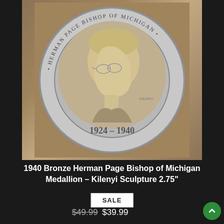[Figure (photo): A silver/bronze medallion commemorating Herman Page, Bishop of Michigan, dated 1924-1940. The medallion shows a side profile portrait of a man wearing glasses, with text around the rim reading 'HERMAN PAGE BISHOP OF MICHIGAN' and the dates '1924-1940' at the bottom. The medallion is photographed on a tan burlap background.]
1940 Bronze Herman Page Bishop of Michigan Medallion – Kilenyi Sculpture 2.75"
SALE
$49.99 $39.99